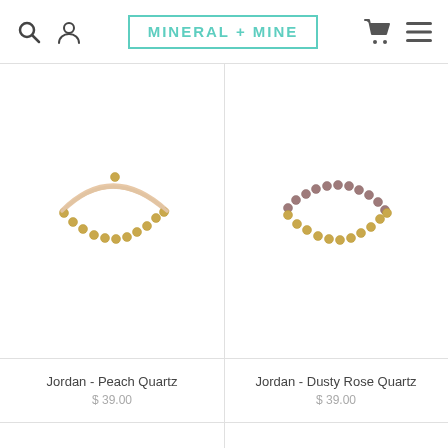Mineral + Mine — navigation header with search, account, cart, and menu icons
[Figure (photo): Jordan - Peach Quartz bracelet: a delicate beaded bracelet with gold-filled beads and peach quartz stones on a white background]
[Figure (photo): Jordan - Dusty Rose Quartz bracelet: a delicate beaded bracelet with gold-filled beads and dusty rose quartz stones on a white background]
Jordan - Peach Quartz
$ 39.00
Jordan - Dusty Rose Quartz
$ 39.00